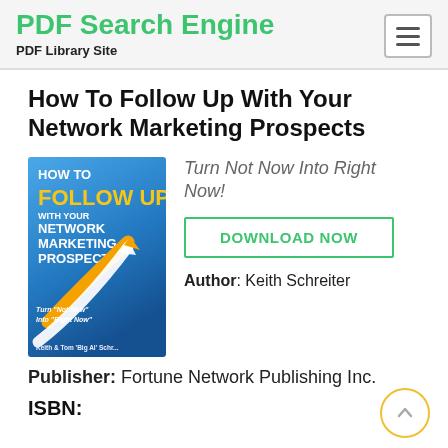PDF Search Engine
PDF Library Site
How To Follow Up With Your Network Marketing Prospects
[Figure (illustration): Book cover of 'How To Follow Up With Your Network Marketing Prospects' by Keith & Tom 'Big Al' Schreiter. Blue background with white and orange arrows, white bold text.]
Turn Not Now Into Right Now!
DOWNLOAD NOW
Author: Keith Schreiter
Publisher: Fortune Network Publishing Inc.
ISBN: